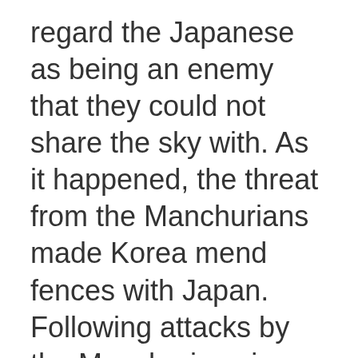regard the Japanese as being an enemy that they could not share the sky with. As it happened, the threat from the Manchurians made Korea mend fences with Japan. Following attacks by the Manchurians in 1627 and 1636, Japan's presence loomed larger than before. Korea had to take a conciliatory attitude toward